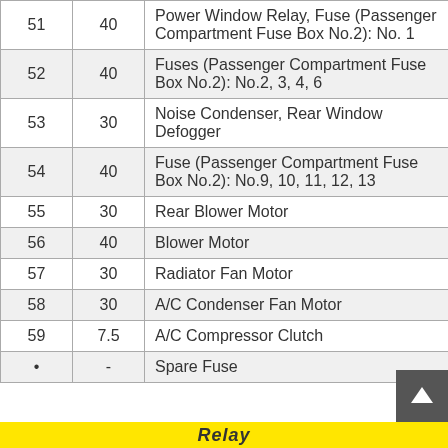| No. | Ampere | Circuit |
| --- | --- | --- |
| 51 | 40 | Power Window Relay, Fuse (Passenger Compartment Fuse Box No.2): No. 1 |
| 52 | 40 | Fuses (Passenger Compartment Fuse Box No.2): No.2, 3, 4, 6 |
| 53 | 30 | Noise Condenser, Rear Window Defogger |
| 54 | 40 | Fuse (Passenger Compartment Fuse Box No.2): No.9, 10, 11, 12, 13 |
| 55 | 30 | Rear Blower Motor |
| 56 | 40 | Blower Motor |
| 57 | 30 | Radiator Fan Motor |
| 58 | 30 | A/C Condenser Fan Motor |
| 59 | 7.5 | A/C Compressor Clutch |
| • | - | Spare Fuse |
Relay